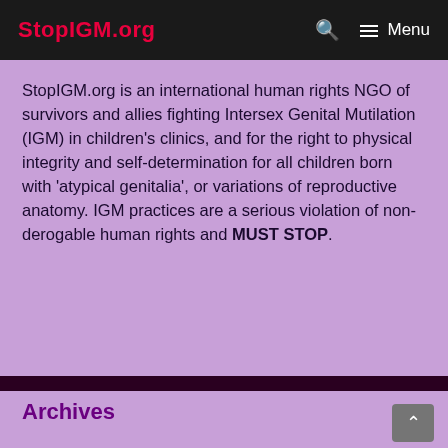StopIGM.org   🔍   ☰ Menu
StopIGM.org is an international human rights NGO of survivors and allies fighting Intersex Genital Mutilation (IGM) in children's clinics, and for the right to physical integrity and self-determination for all children born with 'atypical genitalia', or variations of reproductive anatomy. IGM practices are a serious violation of non-derogable human rights and MUST STOP.
Archives
Select Month